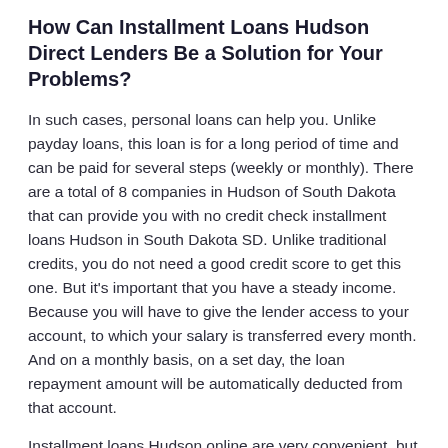How Can Installment Loans Hudson Direct Lenders Be a Solution for Your Problems?
In such cases, personal loans can help you. Unlike payday loans, this loan is for a long period of time and can be paid for several steps (weekly or monthly). There are a total of 8 companies in Hudson of South Dakota that can provide you with no credit check installment loans Hudson in South Dakota SD. Unlike traditional credits, you do not need a good credit score to get this one. But it's important that you have a steady income. Because you will have to give the lender access to your account, to which your salary is transferred every month. And on a monthly basis, on a set day, the loan repayment amount will be automatically deducted from that account.
Installment loans Hudson online are very convenient, but at the same time, very expensive. The interest rate on such